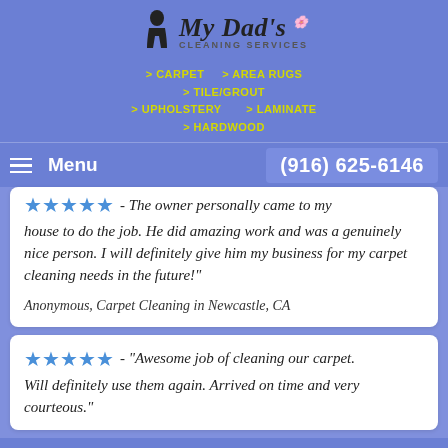[Figure (logo): My Dad's Cleaning Services logo with figure icon]
> CARPET   > AREA RUGS
> TILE/GROUT
> UPHOLSTERY      > LAMINATE
> HARDWOOD
Menu   (916) 625-6146
★★★★★ - The owner personally came to my house to do the job. He did amazing work and was a genuinely nice person. I will definitely give him my business for my carpet cleaning needs in the future!"
Anonymous, Carpet Cleaning in Newcastle, CA
★★★★★ - "Awesome job of cleaning our carpet. Will definitely use them again. Arrived on time and very courteous."